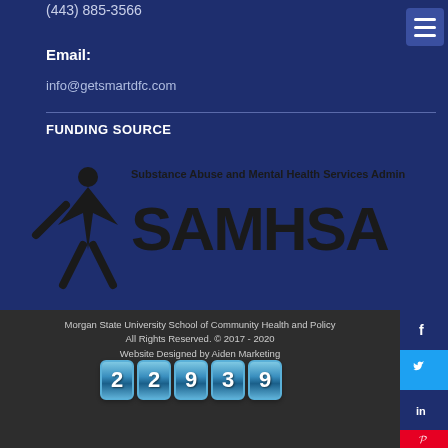(443) 885-3566
Email:
info@getsmartdfc.com
FUNDING SOURCE
[Figure (logo): SAMHSA - Substance Abuse and Mental Health Services Administration logo with figure icon]
Morgan State University School of Community Health and Policy
All Rights Reserved. © 2017 - 2020
Website Designed by Aiden Marketing
22939